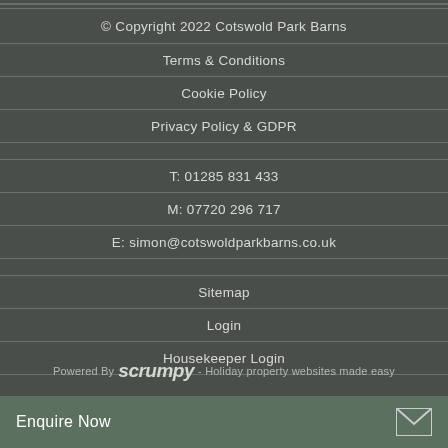© Copyright 2022 Cotswold Park Barns
Terms & Conditions
Cookie Policy
Privacy Policy & GDPR
T: 01285 831 433
M: 07720 296 717
E: simon@cotswoldparkbarns.co.uk
Sitemap
Login
Housekeeper Login
Powered By scrumpy - Holiday property websites made easy
Enquire Now